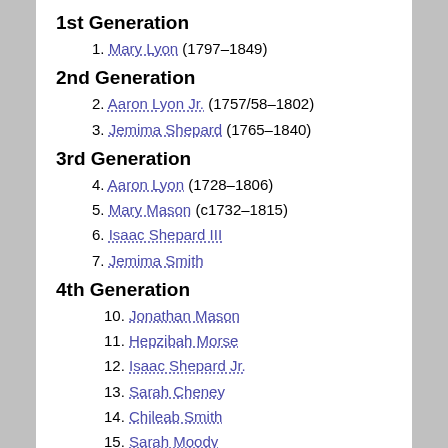1st Generation
1. Mary Lyon (1797–1849)
2nd Generation
2. Aaron Lyon Jr. (1757/58–1802)
3. Jemima Shepard (1765–1840)
3rd Generation
4. Aaron Lyon (1728–1806)
5. Mary Mason (c1732–1815)
6. Isaac Shepard III
7. Jemima Smith
4th Generation
10. Jonathan Mason
11. Hepzibah Morse
12. Isaac Shepard Jr.
13. Sarah Cheney
14. Chileab Smith
15. Sarah Moody